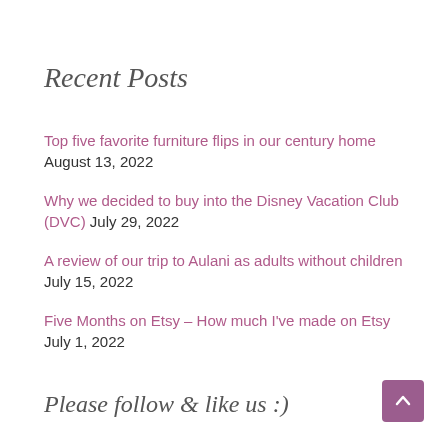Recent Posts
Top five favorite furniture flips in our century home August 13, 2022
Why we decided to buy into the Disney Vacation Club (DVC) July 29, 2022
A review of our trip to Aulani as adults without children July 15, 2022
Five Months on Etsy – How much I've made on Etsy July 1, 2022
Please follow & like us :)